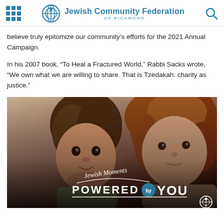Jewish Community Federation OF RICHMOND
believe truly epitomize our community’s efforts for the 2021 Annual Campaign.
In his 2007 book, “To Heal a Fractured World,” Rabbi Sacks wrote, “We own what we are willing to share. That is Tzedakah: charity as justice.”
[Figure (photo): Photo of a young child and a woman with curly hair, overlaid with text reading 'Jewish Moments POWERED by YOU' with the Jewish Community Federation logo]